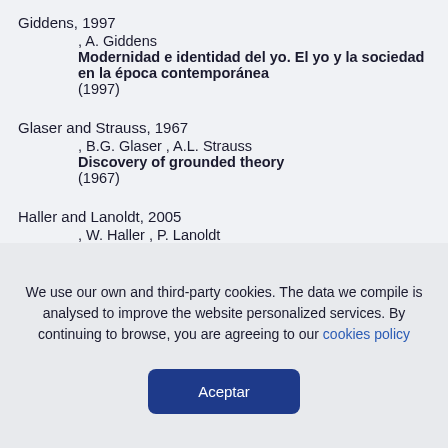Giddens, 1997
, A. Giddens
Modernidad e identidad del yo. El yo y la sociedad en la época contemporánea
(1997)
Glaser and Strauss, 1967
, B.G. Glaser , A.L. Strauss
Discovery of grounded theory
(1967)
Haller and Lanoldt, 2005
, W. Haller , P. Lanoldt
The transnational dimensions of identity formation: adult children of immigrants in Miami
We use our own and third-party cookies. The data we compile is analysed to improve the website personalized services. By continuing to browse, you are agreeing to our cookies policy
Aceptar